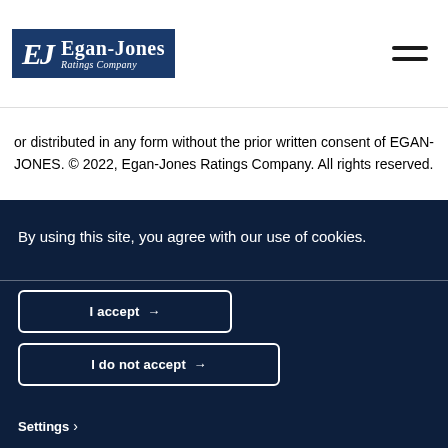[Figure (logo): Egan-Jones Ratings Company logo with blue box containing EJ monogram and company name]
or distributed in any form without the prior written consent of EGAN-JONES. © 2022, Egan-Jones Ratings Company. All rights reserved.
By using this site, you agree with our use of cookies.
I accept →
I do not accept →
Settings >